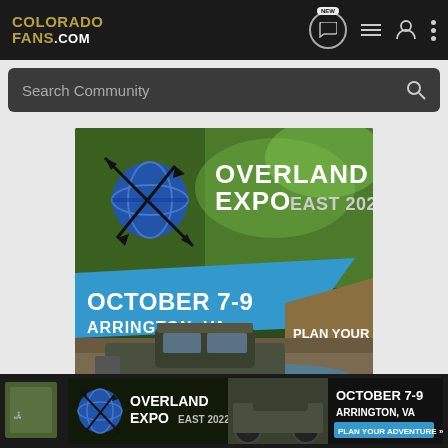COLORADOFANS.COM — navigation bar with NEW chat, list, profile, menu icons
Search Community
[Figure (screenshot): Overland Expo East 2022 advertisement banner. Large format showing globe/compass logo, text: OVERLAND EXPO EAST 2022, OCTOBER 7-9, ARRINGTON, VA, PLAN YOUR ADVENTURE. Background shows forest and a 4x4 truck on rocky terrain.]
[Figure (screenshot): Overland Expo East 2022 smaller banner ad showing logo, OCTOBER 7-9, ARRINGTON, VA, PLAN YOUR ADVENTURE button. Partial community post thumbnail visible on left.]